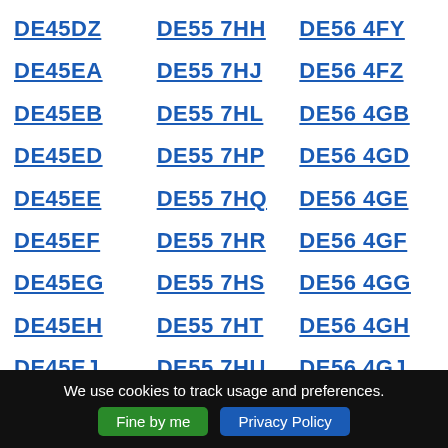DE45DZ
DE55 7HH
DE56 4FY
DE45EA
DE55 7HJ
DE56 4FZ
DE45EB
DE55 7HL
DE56 4GB
DE45ED
DE55 7HP
DE56 4GD
DE45EE
DE55 7HQ
DE56 4GE
DE45EF
DE55 7HR
DE56 4GF
DE45EG
DE55 7HS
DE56 4GG
DE45EH
DE55 7HT
DE56 4GH
DE45EJ
DE55 7HU
DE56 4GJ
DE45EL
DE55 7HW
DE56 4GL
DE45EN
DE55 7HX
DE56 4GN
DE45EP
DE55 7HY
DE56 4GP
We use cookies to track usage and preferences.
Fine by me
Privacy Policy